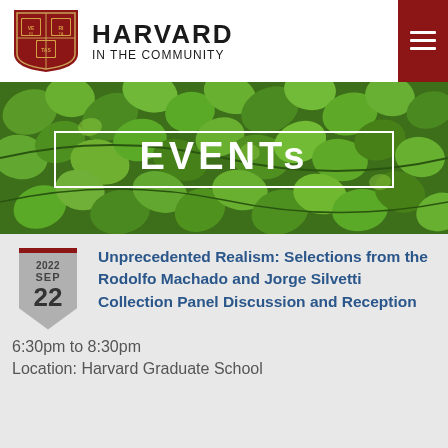[Figure (logo): Harvard shield logo with VERITAS text]
HARVARD IN THE COMMUNITY
[Figure (photo): Green ivy leaves background with EVENTS text overlay in white]
[Figure (infographic): Date badge showing 2022 SEP 22 in shield shape]
Unprecedented Realism: Selections from the Rodolfo Machado and Jorge Silvetti Collection Panel Discussion and Reception
6:30pm to 8:30pm
Location: Harvard Graduate School